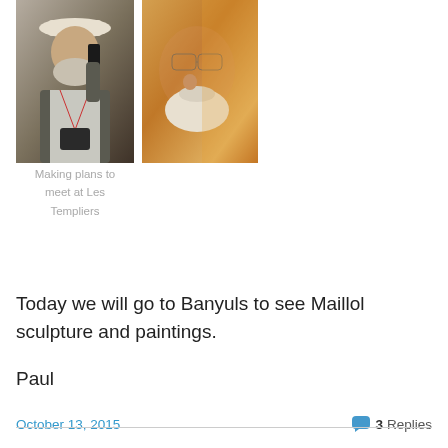[Figure (photo): Two photos side by side: left photo shows an older man with a white hat and beard talking on a phone, wearing a camera around his neck; right photo shows a close-up profile of an older man with white beard and glasses in warm golden light.]
Making plans to meet at Les Templiers
Today we will go to Banyuls to see Maillol sculpture and paintings.
Paul
October 13, 2015   3 Replies